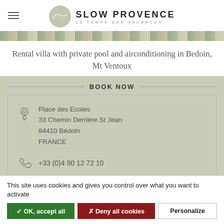SLOW PROVENCE — LE TEMPS DES VACANCES
[Figure (photo): Narrow landscape photo strip showing a Provençal scene]
Rental villa with private pool and airconditioning in Bedoin, Mt Ventoux
BOOK NOW
Place des Ecoles
33 Chemin Derrière St Jean
84410 Bédoin
FRANCE
+33 (0)4 90 12 72 10
This site uses cookies and gives you control over what you want to activate